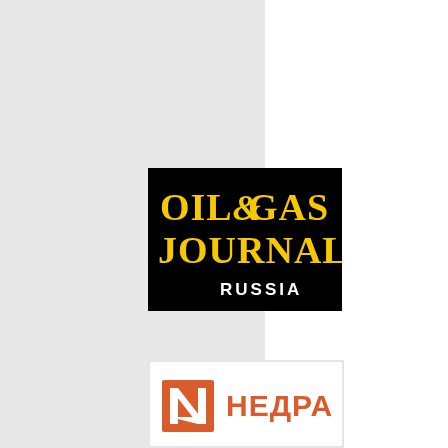[Figure (logo): Oil & Gas Journal Russia logo — black background with yellow bold serif text reading OIL&GAS JOURNAL. and white text RUSSIA below]
[Figure (logo): Nedra (НЕДРА) logo — white background with orange square icon containing white N symbol, followed by orange Cyrillic text НЕДРА]